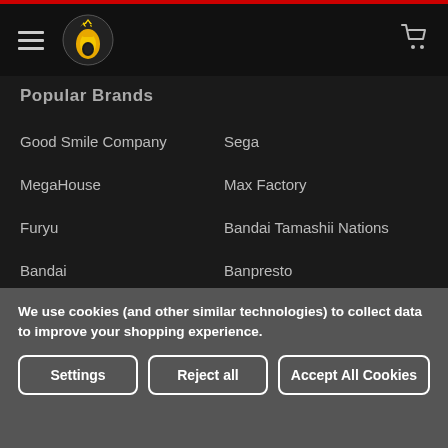Popular Brands
Good Smile Company
Sega
MegaHouse
Max Factory
Furyu
Bandai Tamashii Nations
Bandai
Banpresto
Kotobukiya
View All
We use cookies (and other similar technologies) to collect data to improve your shopping experience.
Settings | Reject all | Accept All Cookies